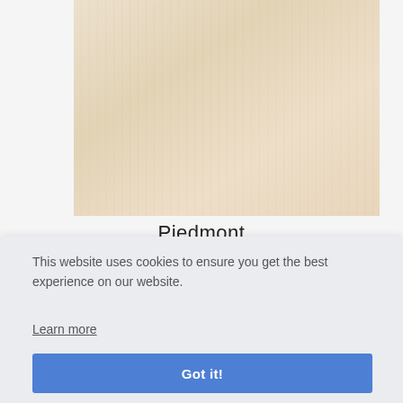[Figure (photo): Light beige/cream colored wood grain product swatch labeled Piedmont]
Piedmont
This website uses cookies to ensure you get the best experience on our website.
Learn more
Got it!
[Figure (photo): Partial view of a second product swatch in tan/brown at bottom of page]
[Figure (other): Google reCAPTCHA badge showing recycling arrows logo with Privacy and Terms text]